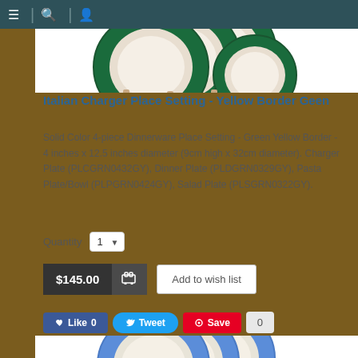Navigation bar with menu, search, and user icons
[Figure (photo): Green-bordered Italian charger place setting plates, partially visible at top of page]
Italian Charger Place Setting - Yellow Border Geen
Solid Color 4-piece Dinnerware Place Setting - Green Yellow Border - 4 inches x 12.5 inches diameter (9cm high x 32cm diameter). Charger Plate (PLCGRN0432GY), Dinner Plate (PLDGRN0329GY), Pasta Plate/Bowl (PLPGRN0424GY), Salad Plate (PLSGRN0322GY).
Quantity 1
$145.00  Add to wish list
Like 0  Tweet  Save  0
[Figure (photo): Blue-bordered Italian charger place setting plates, partially visible at bottom of page]